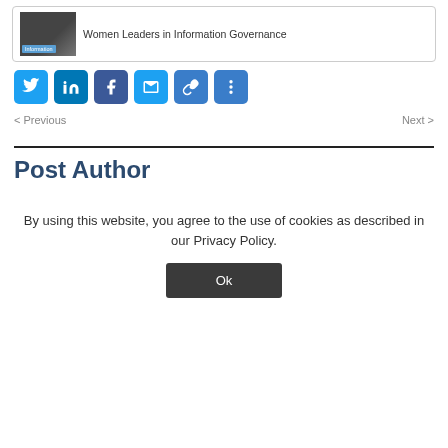[Figure (screenshot): Thumbnail card with image and text 'Women Leaders in Information Governance']
[Figure (infographic): Social sharing icons row: Twitter, LinkedIn, Facebook, Mail, Link, More]
< Previous
Next >
Post Author
By using this website, you agree to the use of cookies as described in our Privacy Policy.
Ok